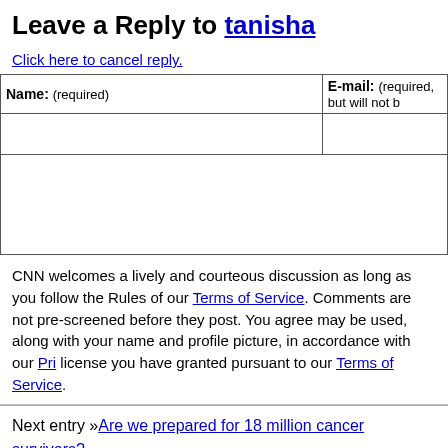Leave a Reply to tanisha
Click here to cancel reply.
| Name: (required) | E-mail: (required, but will not be published) |
| --- | --- |
|  |  |
CNN welcomes a lively and courteous discussion as long as you follow the Rules of Conduct set forth in our Terms of Service. Comments are not pre-screened before they post. You agree that anything you post may be used, along with your name and profile picture, in accordance with our Privacy Policy and the license you have granted pursuant to our Terms of Service.
Next entry »Are we prepared for 18 million cancer survivors?
« Previous entry'Dirty 30' want EPA air pollution rule repealed